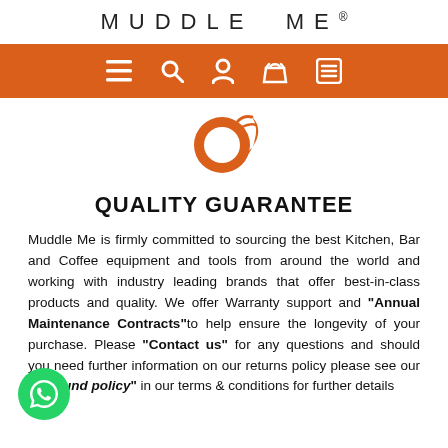pm will be delivered within 3 working days if items are in stock. For any further information please 'contact us' and one of our team would be glad to assist.
MUDDLE ME®
[Figure (screenshot): Orange navigation bar with hamburger menu, search, user, basket, and list icons in white]
[Figure (logo): Muddle Me orange stylized Q mascot logo]
QUALITY GUARANTEE
Muddle Me is firmly committed to sourcing the best Kitchen, Bar and Coffee equipment and tools from around the world and working with industry leading brands that offer best-in-class products and quality. We offer Warranty support and "Annual Maintenance Contracts"to help ensure the longevity of your purchase. Please "Contact us" for any questions and should you need further information on our returns policy please see our "...refund policy" in our terms & conditions for further details